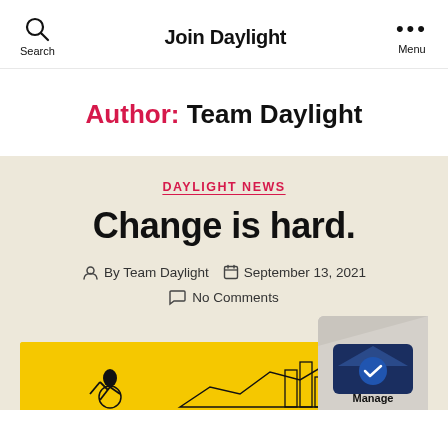Join Daylight
Author: Team Daylight
DAYLIGHT NEWS
Change is hard.
By Team Daylight   September 13, 2021   No Comments
[Figure (illustration): Yellow background illustration with a figure and city/building line art, partially visible at the bottom of the page. A Manage app badge/logo is visible in the bottom right corner.]